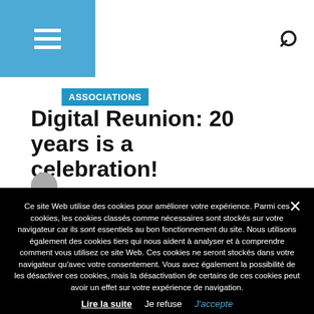ASSOCIATIONS — Digital Reunion: 20 years is a celebration! [with hamburger menu and search icon in header]
ASSOCIATIONS
Digital Reunion: 20 years is a celebration!
Ce site Web utilise des cookies pour améliorer votre expérience. Parmi ces cookies, les cookies classés comme nécessaires sont stockés sur votre navigateur car ils sont essentiels au bon fonctionnement du site. Nous utilisons également des cookies tiers qui nous aident à analyser et à comprendre comment vous utilisez ce site Web. Ces cookies ne seront stockés dans votre navigateur qu'avec votre consentement. Vous avez également la possibilité de les désactiver ces cookies, mais la désactivation de certains de ces cookies peut avoir un effet sur votre expérience de navigation. Lire la suite   Je refuse   J'accepte
Personnaliser les Cookies